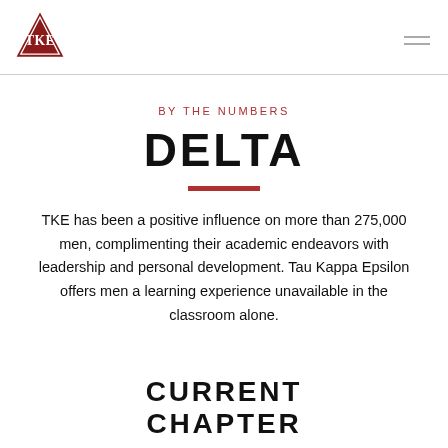TKE Logo / Navigation
BY THE NUMBERS
DELTA
TKE has been a positive influence on more than 275,000 men, complimenting their academic endeavors with leadership and personal development. Tau Kappa Epsilon offers men a learning experience unavailable in the classroom alone.
CURRENT CHAPTER